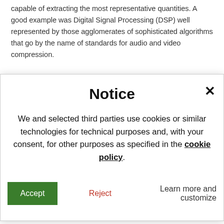capable of extracting the most representative quantities. A good example was Digital Signal Processing (DSP) well represented by those agglomerates of sophisticated algorithms that go by the name of standards for audio and video compression.
In all these cases we find wonderful examples of how human ingenuity has been able to dig into enormous masses of data for
Notice
We and selected third parties use cookies or similar technologies for technical purposes and, with your consent, for other purposes as specified in the cookie policy.
Accept | Reject | Learn more and customize